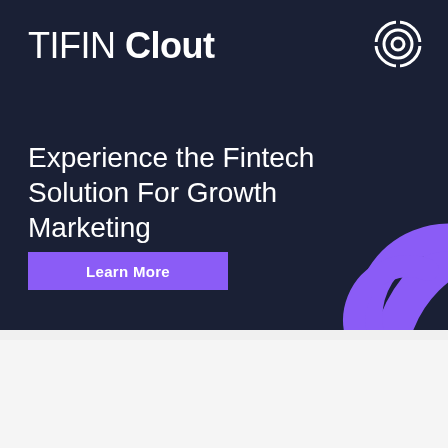TIFIN Clout
Experience the Fintech Solution For Growth Marketing
Learn More
[Figure (logo): TIFIN circular target/scope icon in white, top right corner]
[Figure (illustration): Purple concentric arc decorative element in bottom right of banner]
[Figure (screenshot): Second banner partially visible showing TIFIN Plan branding on dark background]
Ready to use Offline